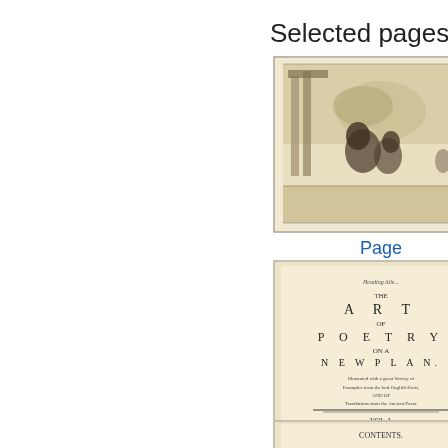Selected pages
[Figure (illustration): A black and white engraving showing classical figures, possibly mythological, with columns and clouds in background]
Page
[Figure (photo): Title page of 'The Art of Poetry on a New Plan', Vol. I, London, showing the full title page text of the book]
Title Page
[Figure (photo): Partial view of another page from the book, cropped at bottom]